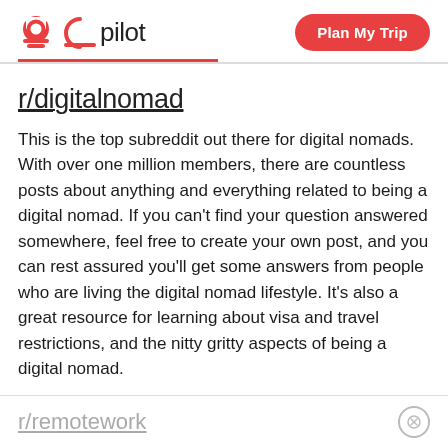pilot | Plan My Trip
r/digitalnomad
This is the top subreddit out there for digital nomads. With over one million members, there are countless posts about anything and everything related to being a digital nomad. If you can't find your question answered somewhere, feel free to create your own post, and you can rest assured you'll get some answers from people who are living the digital nomad lifestyle. It's also a great resource for learning about visa and travel restrictions, and the nitty gritty aspects of being a digital nomad.
r/remotework